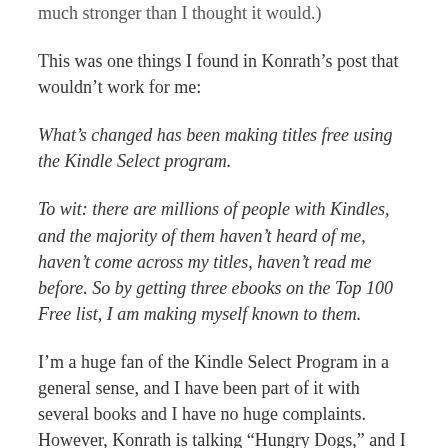much stronger than I thought it would.
This was one things I found in Konrath’s post that wouldn’t work for me:
What’s changed has been making titles free using the Kindle Select program.
To wit: there are millions of people with Kindles, and the majority of them haven’t heard of me, haven’t come across my titles, haven’t read me before. So by getting three ebooks on the Top 100 Free list, I am making myself known to them.
I’m a huge fan of the Kindle Select Program in a general sense, and I have been part of it with several books and I have no huge complaints. However, Konrath is talking “Hungry Dogs,” and I agree with him completely. But that means that when I’m self-publishing I need to think